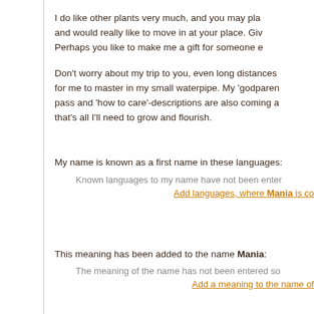I do like other plants very much, and you may pla and would really like to move in at your place. Giv Perhaps you like to make me a gift for someone e
Don't worry about my trip to you, even long distances for me to master in my small waterpipe. My 'godparen pass and 'how to care'-descriptions are also coming a that's all I'll need to grow and flourish.
My name is known as a first name in these languages:
Known languages to my name have not been enter
Add languages, where Mania is co
This meaning has been added to the name Mania:
The meaning of the name has not been entered so
Add a meaning to the name of